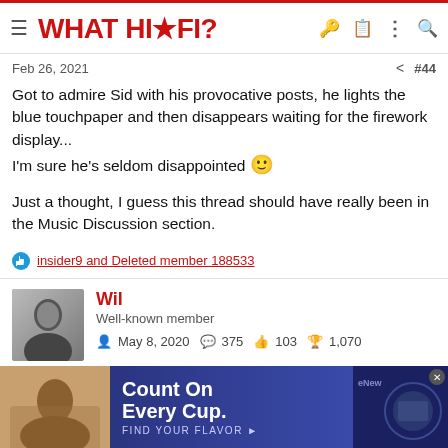WHAT HI·FI?
Feb 26, 2021  #44
Got to admire Sid with his provocative posts, he lights the blue touchpaper and then disappears waiting for the firework display... I'm sure he's seldom disappointed 🙂

Just a thought, I guess this thread should have really been in the Music Discussion section.
insider9 and Deleted member 188533
Wil
Well-known member
May 8, 2020  375  103  1,070
[Figure (screenshot): Advertisement banner: Count On Every Cup. FIND YOUR FLAVOR]